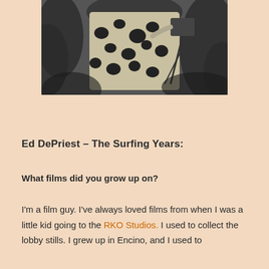[Figure (photo): Black and white photograph of a person in a floral Hawaiian shirt operating a camera on a tripod, with tropical foliage in the background.]
Ed DePriest – The Surfing Years:
What films did you grow up on?
I'm a film guy. I've always loved films from when I was a little kid going to the RKO Studios. I used to collect the lobby stills. I grew up in Encino, and I used to